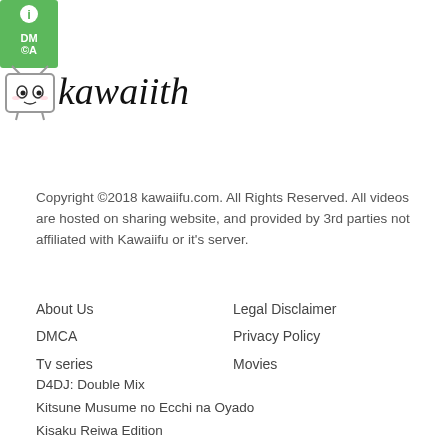[Figure (logo): DMCA badge (green) with info icon and kawaiifu logo with TV mascot icon and handwritten site name]
Copyright ©2018 kawaiifu.com. All Rights Reserved. All videos are hosted on sharing website, and provided by 3rd parties not affiliated with Kawaiifu or it's server.
About Us
DMCA
Tv series
Legal Disclaimer
Privacy Policy
Movies
D4DJ: Double Mix
Kitsune Musume no Ecchi na Oyado
Kisaku Reiwa Edition
I'm Quitting Heroing OVA – Yuusha, Yamemasu OVA
Tekken: Bloodline